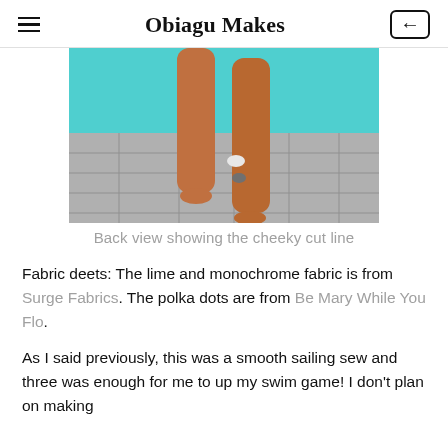Obiagu Makes
[Figure (photo): Back view of person's legs walking barefoot on tiled floor with teal/turquoise wall background, showing the cheeky cut line of a swimsuit]
Back view showing the cheeky cut line
Fabric deets: The lime and monochrome fabric is from Surge Fabrics. The polka dots are from Be Mary While You Flo.
As I said previously, this was a smooth sailing sew and three was enough for me to up my swim game! I don't plan on making